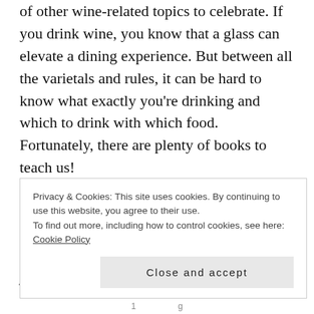Today may be National First Non-Buy but there are plenty of other wine-related topics to celebrate. If you drink wine, you know that a glass can elevate a dining experience. But between all the varietals and rules, it can be hard to know what exactly you're drinking and which to drink with which food. Fortunately, there are plenty of books to teach us!
First off, there is no need to become an expert because as Victoria James' autobiography Wine Girl explains, the journey to becoming a sommelier (not to mention America's youngest sommelier!) is quite the intense
Privacy & Cookies: This site uses cookies. By continuing to use this website, you agree to their use.
To find out more, including how to control cookies, see here: Cookie Policy
Close and accept